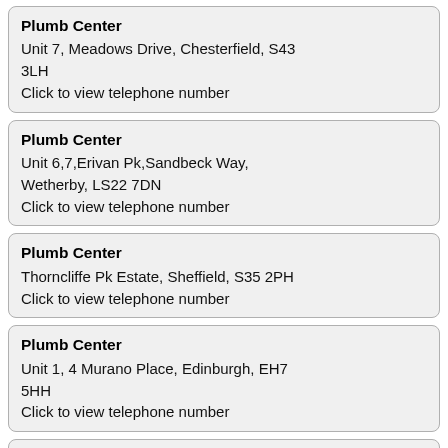Plumb Center
Unit 7, Meadows Drive, Chesterfield, S43 3LH
Click to view telephone number
Plumb Center
Unit 6,7,Erivan Pk,Sandbeck Way, Wetherby, LS22 7DN
Click to view telephone number
Plumb Center
Thorncliffe Pk Estate, Sheffield, S35 2PH
Click to view telephone number
Plumb Center
Unit 1, 4 Murano Place, Edinburgh, EH7 5HH
Click to view telephone number
Plumb Center
12 Cambridge Road, Weymouth, DT4 9TJ